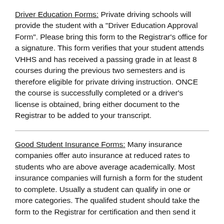Driver Education Forms: Private driving schools will provide the student with a "Driver Education Approval Form". Please bring this form to the Registrar's office for a signature. This form verifies that your student attends VHHS and has received a passing grade in at least 8 courses during the previous two semesters and is therefore eligible for private driving instruction. ONCE the course is successfully completed or a driver's license is obtained, bring either document to the Registrar to be added to your transcript.
Good Student Insurance Forms: Many insurance companies offer auto insurance at reduced rates to students who are above average academically. Most insurance companies will furnish a form for the student to complete. Usually a student can qualify in one or more categories. The qualifed student should take the form to the Registrar for certification and then send it...